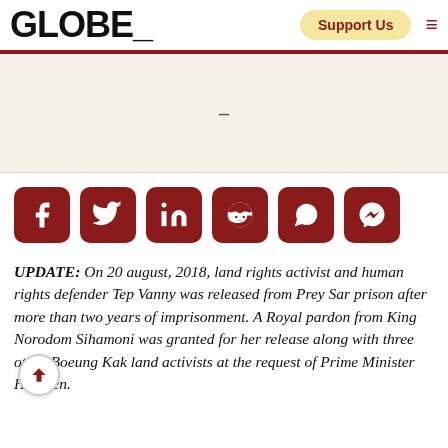GLOBE_ | Support Us
[Figure (other): Article featured image placeholder area with a dash in center]
[Figure (other): Social sharing icons row: Facebook, Twitter, LinkedIn, Reddit, WhatsApp, Messenger]
UPDATE: On 20 august, 2018, land rights activist and human rights defender Tep Vanny was released from Prey Sar prison after more than two years of imprisonment. A Royal pardon from King Norodom Sihamoni was granted for her release along with three other Boeung Kak land activists at the request of Prime Minister Hun Sen.